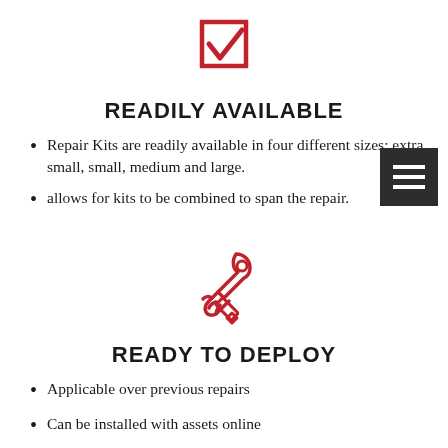[Figure (illustration): Red outline icon of a checkbox with a checkmark inside]
READILY AVAILABLE
Repair Kits are readily available in four different sizes: extra small, small, medium and large.
allows for kits to be combined to span the repair.
[Figure (illustration): Red outline icon of a hand holding a wrench]
READY TO DEPLOY
Applicable over previous repairs
Can be installed with assets online
No special tools required